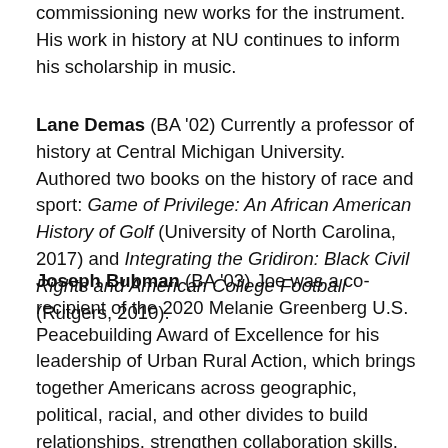commissioning new works for the instrument. His work in history at NU continues to inform his scholarship in music.
Lane Demas (BA '02) Currently a professor of history at Central Michigan University. Authored two books on the history of race and sport: Game of Privilege: An African American History of Golf (University of North Carolina, 2017) and Integrating the Gridiron: Black Civil Rights and American College Football (Rutgers, 2010).
Joseph Bubman (BA '03) Joe was a co-recipient of the 2020 Melanie Greenberg U.S. Peacebuilding Award of Excellence for his leadership of Urban Rural Action, which brings together Americans across geographic, political, racial, and other divides to build relationships, strengthen collaboration skills, explore different perspectives, and take action together on issues that